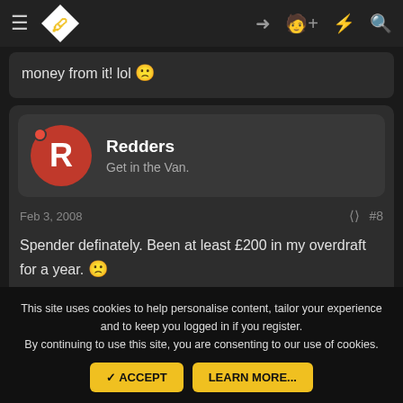[Figure (screenshot): Forum website navigation bar with hamburger menu, diamond logo with hand icon, and right-side icons for login, add user, lightning, and search]
money from it! lol 🙁
[Figure (screenshot): User profile card for Redders with red avatar showing letter R, online indicator dot, username Redders, subtitle Get in the Van.]
Feb 3, 2008
#8
Spender definately. Been at least £200 in my overdraft for a year. 🙁
This site uses cookies to help personalise content, tailor your experience and to keep you logged in if you register.
By continuing to use this site, you are consenting to our use of cookies.